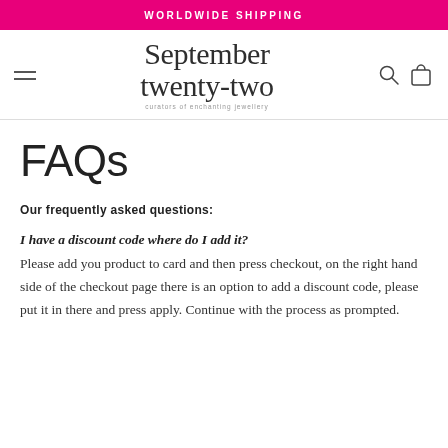WORLDWIDE SHIPPING
[Figure (logo): September twenty-two logo with tagline 'curators of enchanting jewellery']
FAQs
Our frequently asked questions:
I have a discount code where do I add it?
Please add you product to card and then press checkout, on the right hand side of the checkout page there is an option to add a discount code, please put it in there and press apply. Continue with the process as prompted.